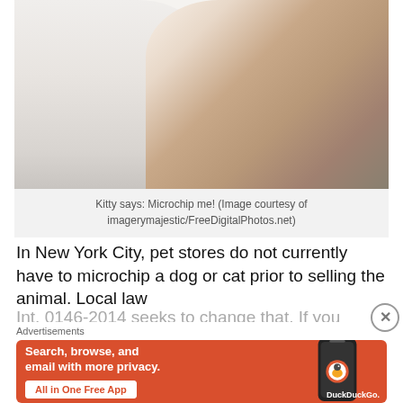[Figure (photo): A smiling woman with dark hair holding a fluffy white cat against a white background.]
Kitty says: Microchip me! (Image courtesy of imagerymajestic/FreeDigitalPhotos.net)
In New York City, pet stores do not currently have to microchip a dog or cat prior to selling the animal. Local law Int. 0146-2014 seeks to change that. If you agree with me
Advertisements
[Figure (screenshot): DuckDuckGo advertisement banner with orange background. Text reads 'Search, browse, and email with more privacy. All in One Free App.' Shows a phone with DuckDuckGo logo and text 'DuckDuckGo.']